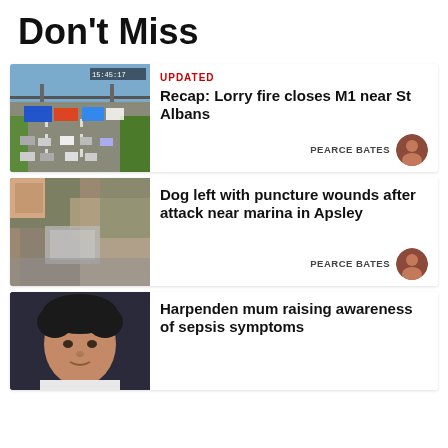Don't Miss
[Figure (screenshot): Aerial highway camera view of motorway traffic jam with lorries and cars queued on M1]
UPDATED
Recap: Lorry fire closes M1 near St Albans
PEARCE BATES
[Figure (photo): Close-up photo of an injured dog with blurred wound area, hands visible]
Dog left with puncture wounds after attack near marina in Apsley
PEARCE BATES
[Figure (photo): Photo of a young man with dark curly hair, looking at camera]
Harpenden mum raising awareness of sepsis symptoms